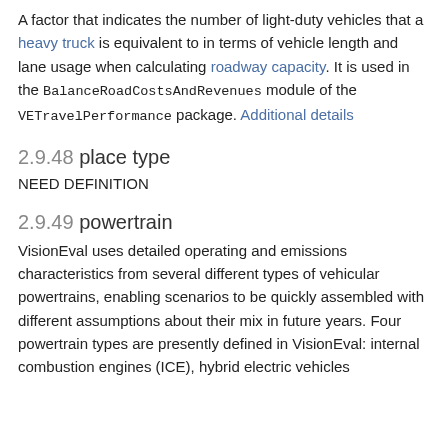A factor that indicates the number of light-duty vehicles that a heavy truck is equivalent to in terms of vehicle length and lane usage when calculating roadway capacity. It is used in the BalanceRoadCostsAndRevenues module of the VETravelPerformance package. Additional details
2.9.48 place type
NEED DEFINITION
2.9.49 powertrain
VisionEval uses detailed operating and emissions characteristics from several different types of vehicular powertrains, enabling scenarios to be quickly assembled with different assumptions about their mix in future years. Four powertrain types are presently defined in VisionEval: internal combustion engines (ICE), hybrid electric vehicles